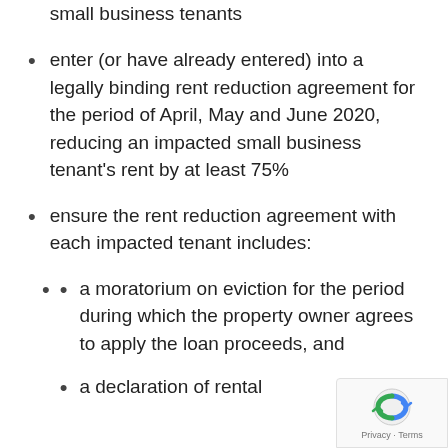small business tenants
enter (or have already entered) into a legally binding rent reduction agreement for the period of April, May and June 2020, reducing an impacted small business tenant's rent by at least 75%
ensure the rent reduction agreement with each impacted tenant includes:
a moratorium on eviction for the period during which the property owner agrees to apply the loan proceeds, and
a declaration of rental